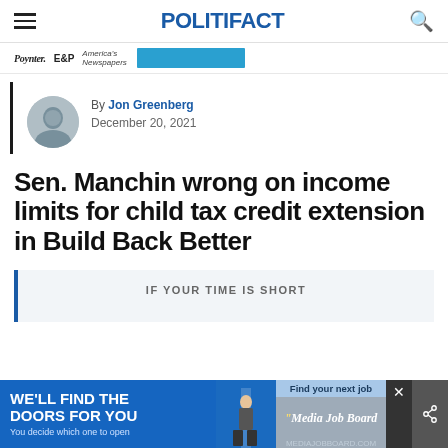POLITIFACT
[Figure (logo): Partner logos: Poynter, E&P, America's Newspapers, and a blue banner/button]
By Jon Greenberg
December 20, 2021
Sen. Manchin wrong on income limits for child tax credit extension in Build Back Better
IF YOUR TIME IS SHORT
[Figure (photo): Advertisement banner: WE'LL FIND THE DOORS FOR YOU / You decide which one to open / Find your next job / Media Job Board]